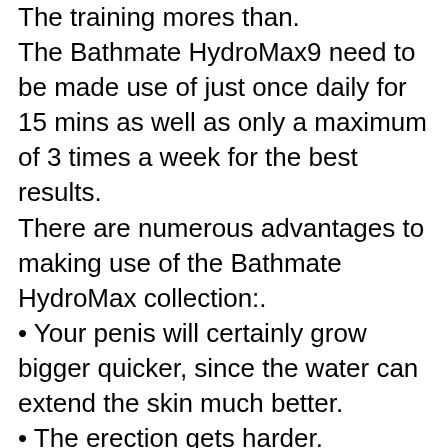The training mores than.
The Bathmate HydroMax9 need to be made use of just once daily for 15 mins as well as only a maximum of 3 times a week for the best results.
There are numerous advantages to making use of the Bathmate HydroMax collection:.
• Your penis will certainly grow bigger quicker, since the water can extend the skin much better.
• The erection gets harder.
• The outcomes are noticeable and also well-known after approx. 15 mins.
• The orgasm can be magnified.
• The love video game with your companion can end up being more intense.
• Can assist with disorder.
• Cleaning: Use a plaything cleaner or